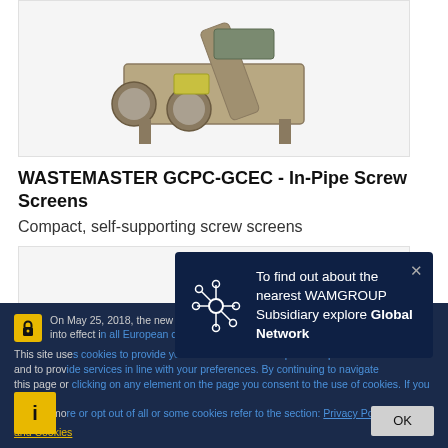[Figure (photo): Industrial wastewater screw screen machine (WASTEMASTER GCPC-GCEC) on white/grey background]
WASTEMASTER GCPC-GCEC - In-Pipe Screw Screens
Compact, self-supporting screw screens
[Figure (photo): Partial view of another industrial screening machine on light grey background]
On May 25, 2018, the new General Data Protection Regulation (GDPR) enters into effect in all European countries. We updated our Privacy Policy. Please review our policy in accordance with the new regulation.
This site uses cookies to provide you with the best user experience possible and to provide services in line with your preferences. By continuing to navigate this page or clicking on any element on the page you consent to the use of cookies. If you want to learn more or opt out of all or some cookies refer to the section: Privacy Policy and Cookies
To find out about the nearest WAMGROUP Subsidiary explore Global Network
OK